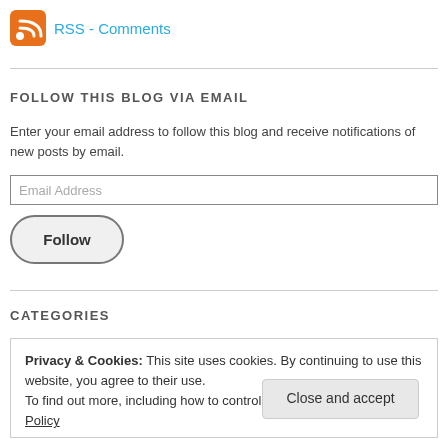[Figure (logo): RSS feed icon (orange with white waves) next to link text 'RSS - Comments' in cyan/blue color]
FOLLOW THIS BLOG VIA EMAIL
Enter your email address to follow this blog and receive notifications of new posts by email.
Email Address
Follow
CATEGORIES
Privacy & Cookies: This site uses cookies. By continuing to use this website, you agree to their use.
To find out more, including how to control cookies, see here: Cookie Policy
Close and accept